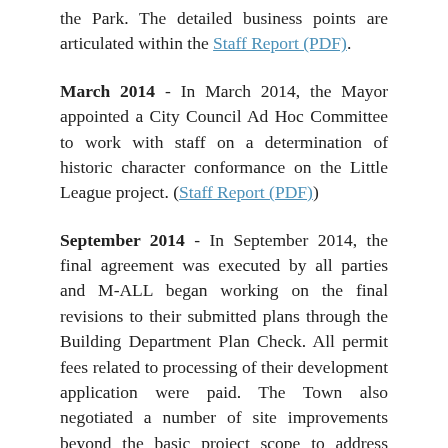the Park. The detailed business points are articulated within the Staff Report (PDF).
March 2014 - In March 2014, the Mayor appointed a City Council Ad Hoc Committee to work with staff on a determination of historic character conformance on the Little League project. (Staff Report (PDF))
September 2014 - In September 2014, the final agreement was executed by all parties and M-ALL began working on the final revisions to their submitted plans through the Building Department Plan Check. All permit fees related to processing of their development application were paid. The Town also negotiated a number of site improvements beyond the basic project scope to address pathway issues, facility improvements, planning for future improvements (conduits, etc.), parking lot improvements, and site electrical. (Development and